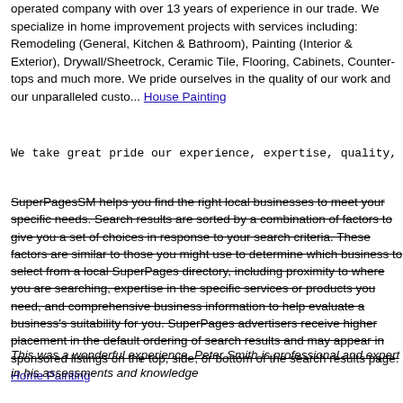operated company with over 13 years of experience in our trade. We specialize in home improvement projects with services including: Remodeling (General, Kitchen & Bathroom), Painting (Interior & Exterior), Drywall/Sheetrock, Ceramic Tile, Flooring, Cabinets, Counter-tops and much more. We pride ourselves in the quality of our work and our unparalleled custo... House Painting
We take great pride our experience, expertise, quality, a
SuperPagesSM helps you find the right local businesses to meet your specific needs. Search results are sorted by a combination of factors to give you a set of choices in response to your search criteria. These factors are similar to those you might use to determine which business to select from a local SuperPages directory, including proximity to where you are searching, expertise in the specific services or products you need, and comprehensive business information to help evaluate a business's suitability for you. SuperPages advertisers receive higher placement in the default ordering of search results and may appear in sponsored listings on the top, side, or bottom of the search results page. Home Painting
This was a wonderful experience. Peter Smith is professional and expert in his assessments and knowledge